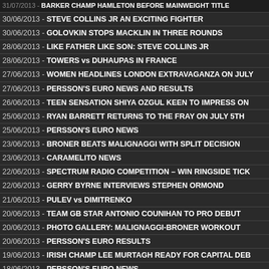30/06/2013 - STEVE COLLINS JR AN EXCITING FIGHTER
30/06/2013 - GOLOVKIN STOPS MACKLIN IN THREE ROUNDS
28/06/2013 - LIKE FATHER LIKE SON: STEVE COLLINS JR
28/06/2013 - TOWERS vs DUHAUPAS IN FRANCE
27/06/2013 - WOMEN HEADLINES LONDON EXTRAVAGANZA ON JULY
27/06/2013 - PERSSON'S EURO NEWS AND RESULTS
26/06/2013 - TEEN SENSATION SHIYA OZGUL KEEN TO IMPRESS ON
25/06/2013 - RYAN BARRETT RETURNS TO THE FRAY ON JULY 5TH
25/06/2013 - PERSSON'S EURO NEWS
23/06/2013 - BRONER BEATS MALIGNAGGI WITH SPLIT DECISION
23/06/2013 - CARAMELITO NEWS
22/06/2013 - SPECTRUM RADIO COMPETITION – WIN RINGSIDE TICK
22/06/2013 - GERRY BYRNE INTERVIEWS STEPHEN ORMOND
21/06/2013 - PULEV vs DIMITRENKO
20/06/2013 - TEAM GB STAR ANTONIO COUNIHAN TO PRO DEBUT
20/06/2013 - PHOTO GALLERY: MALIGNAGGI-BRONER WORKOUT
20/06/2013 - PERSSON'S EURO RESULTS
19/06/2013 - IRISH CHAMP LEE MURTAGH READY FOR CAPITAL DEB
18/06/2013 - PERSSON'S EURO NEWS
18/06/2013 - WORLD TITLE SHOT FOR BIG BROTHER STAR ANGEL M
16/06/2013 - WALLBER, AWAKE IN A SEDUCED COMA
16/06/2013 - PATRICK NIELSEN KEEPS HIS BELT IN FOURTH ROUND
15/06/2013 - WORLD BOXING FEDERATION NEWSLETTER
14/06/2013 - WALLBER AND BOGERE STOPPED IN SWEDEN
14/06/2013 - TATLI, JOKINEN AND KOIVULA IN FINLAND
14/06/2013 - BRAEHMER IS BACK IN HIS HOMETOWN